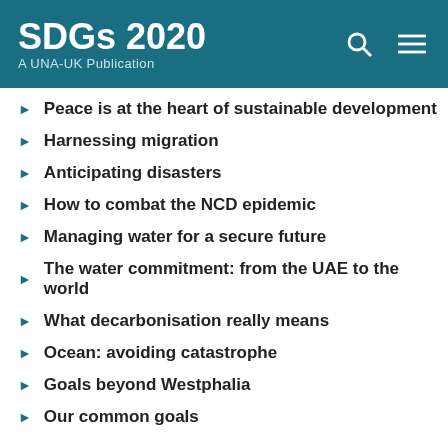SDGs 2020 — A UNA-UK Publication
Peace is at the heart of sustainable development
Harnessing migration
Anticipating disasters
How to combat the NCD epidemic
Managing water for a secure future
The water commitment: from the UAE to the world
What decarbonisation really means
Ocean: avoiding catastrophe
Goals beyond Westphalia
Our common goals